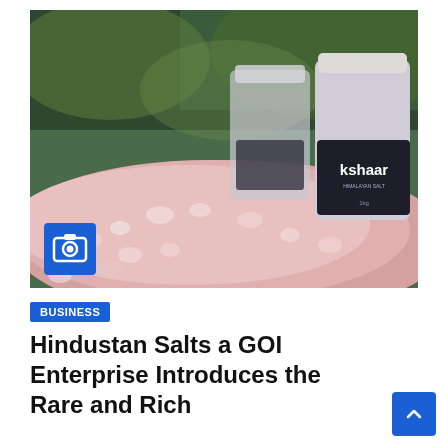[Figure (photo): Close-up photo of pink Himalayan salt crystals in a pile with two glass jars labeled 'kshaar' in the background, set against a green blurred outdoor backdrop. A camera icon overlay is visible in the lower left of the image.]
BUSINESS
Hindustan Salts a GOI Enterprise Introduces the Rare and Rich